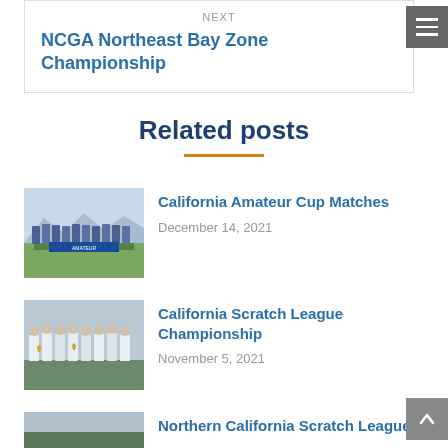NEXT
NCGA Northeast Bay Zone Championship
Related posts
[Figure (photo): Group photo of golfers in blue shirts standing on a golf course with a banner]
California Amateur Cup Matches
December 14, 2021
[Figure (photo): Group photo of golfers in white attire holding trophies]
California Scratch League Championship
November 5, 2021
[Figure (photo): Partial photo of golfers]
Northern California Scratch League